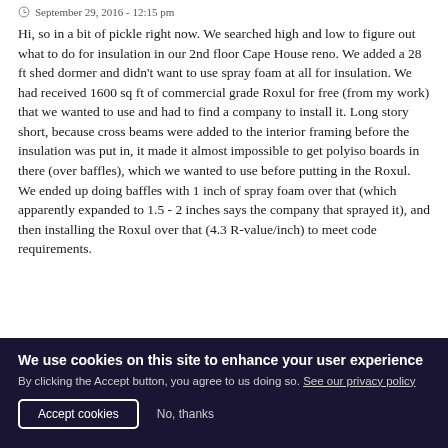September 29, 2016 - 12:15 pm
Hi, so in a bit of pickle right now. We searched high and low to figure out what to do for insulation in our 2nd floor Cape House reno. We added a 28 ft shed dormer and didn't want to use spray foam at all for insulation. We had received 1600 sq ft of commercial grade Roxul for free (from my work) that we wanted to use and had to find a company to install it. Long story short, because cross beams were added to the interior framing before the insulation was put in, it made it almost impossible to get polyiso boards in there (over baffles), which we wanted to use before putting in the Roxul. We ended up doing baffles with 1 inch of spray foam over that (which apparently expanded to 1.5 - 2 inches says the company that sprayed it), and then installing the Roxul over that (4.3 R-value/inch) to meet code requirements.
We use cookies on this site to enhance your user experience
By clicking the Accept button, you agree to us doing so. See our privacy policy
Accept cookies
No, thanks